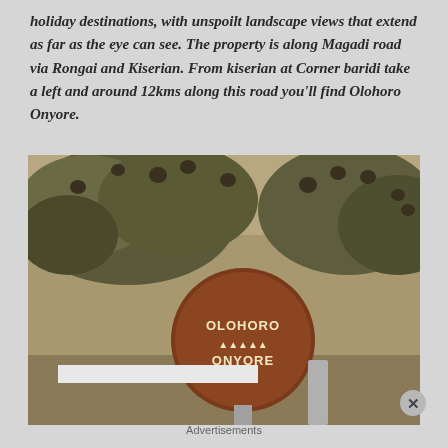holiday destinations, with unspoilt landscape views that extend as far as the eye can see. The property is along Magadi road via Rongai and Kiserian. From kiserian at Corner baridi take a left and around 12kms along this road you'll find Olohoro Onyore.
[Figure (photo): A round rusty brown sign reading 'OLOHORO ONYORE' with decorative lettering, mounted on a post with a white directional arrow sign, surrounded by acacia trees with birds or seed pods visible in the branches.]
Advertisements